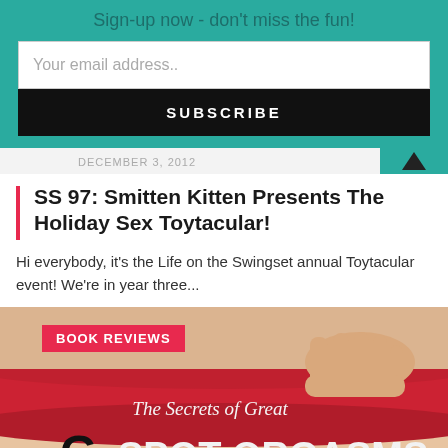Sign-up now - don't miss the fun!
Your email address..
SUBSCRIBE
DECEMBER 3, 2012
SS 97: Smitten Kitten Presents The Holiday Sex Toytacular!
Hi everybody, it's the Life on the Swingset annual Toytacular event! We're in year three...
[Figure (photo): Book cover image with label 'BOOK REVIEWS' overlay. Shows a person's torso wearing red underwear with a hand pulling the waistband. Text on the image reads 'The Secrets of Great G SPOT ORGASMS'.]